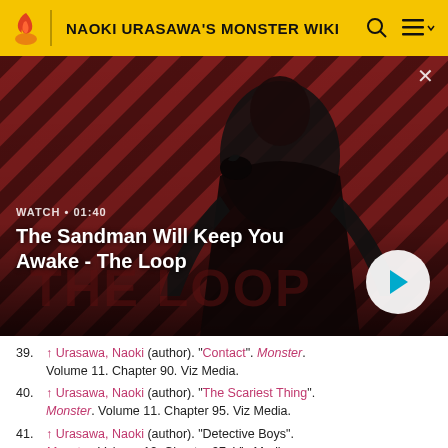NAOKI URASAWA'S MONSTER WIKI
[Figure (screenshot): Video thumbnail showing a dark-robed figure with a crow on shoulder against a red and black diagonal stripe background. Text overlay: WATCH • 01:40 / The Sandman Will Keep You Awake - The Loop]
39. ↑ Urasawa, Naoki (author). "Contact". Monster. Volume 11. Chapter 90. Viz Media.
40. ↑ Urasawa, Naoki (author). "The Scariest Thing". Monster. Volume 11. Chapter 95. Viz Media.
41. ↑ Urasawa, Naoki (author). "Detective Boys". Monster. Volume 12. Chapter 97. Viz Media.
42. ↑ Monster chapter 117.